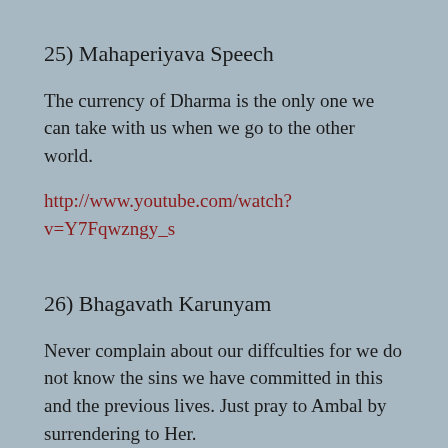25) Mahaperiyava Speech
The currency of Dharma is the only one we can take with us when we go to the other world.
http://www.youtube.com/watch?v=Y7Fqwzngy_s
26) Bhagavath Karunyam
Never complain about our diffculties for we do not know the sins we have committed in this and the previous lives. Just pray to Ambal by surrendering to Her.